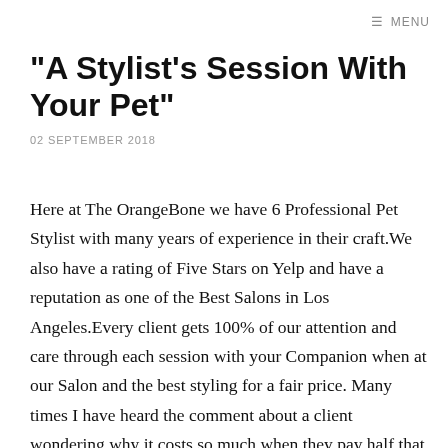≡ MENU
"A Stylist's Session With Your Pet"
02 SEPTEMBER 2018
Here at The OrangeBone we have 6 Professional Pet Stylist with many years of experience in their craft.We also have a rating of Five Stars on Yelp and have a reputation as one of the Best Salons in Los Angeles.Every client gets 100% of our attention and care through each session with your Companion when at our Salon and the best styling for a fair price. Many times I have heard the comment about a client wondering why it costs so much when they pay half that getting their hair styled and I say.... If